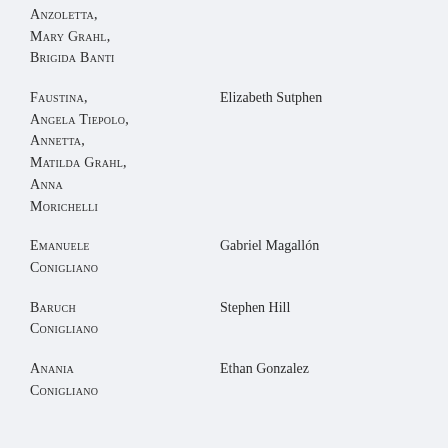Anzoletta,
Mary Grahl,
Brigida Banti
Faustina,
Angela Tiepolo,
Annetta,
Matilda Grahl,
Anna
Morichelli		Elizabeth Sutphen
Emanuele
Conigliano		Gabriel Magallón
Baruch
Conigliano		Stephen Hill
Anania
Conigliano		Ethan Gonzalez